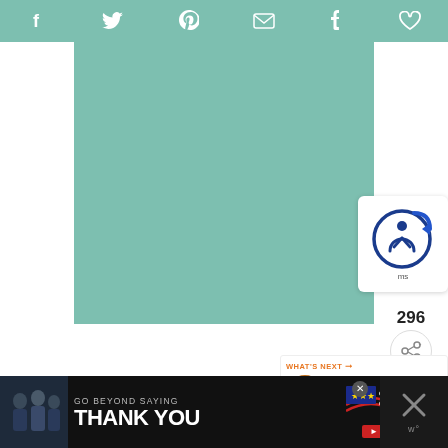[Figure (screenshot): Social share bar with icons for Facebook, Twitter, Pinterest, Email, Tumblr, and a heart/like button on a teal/mint green background]
[Figure (illustration): Large teal/mint green rectangle occupying the main content area of the page]
[Figure (logo): Accessibility widget icon showing a circular blue icon with a person figure and a blue arrow refresh symbol, with text 'ms' partially visible]
296
[Figure (screenshot): Share button (circular icon with share symbol)]
[Figure (screenshot): What's Next section showing a thumbnail of pancakes and text 'Gluten Free Overnight...']
[Figure (screenshot): Advertisement banner: GO BEYOND SAYING THANK YOU - Operation Gratitude JOIN US, with a photo of military/people, on dark background. Close button with X on the right.]